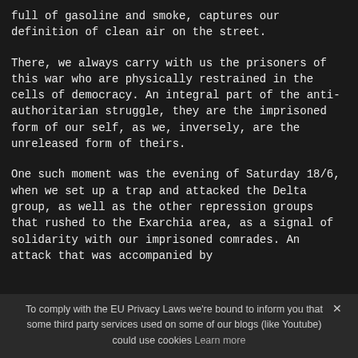full of gasoline and smoke, captures our definition of clean air on the street.
There, we always carry with us the prisoners of this war who are physically restrained in the cells of democracy. An integral part of the anti-authoritarian struggle, they are the imprisoned form of our self, as we, inversely, are the unreleased form of theirs.
One such moment was the evening of Saturday 18/6, when we set up a trap and attacked the Delta group, as well as the other repression groups that rushed to the Exarchia area, as a signal of solidarity with our imprisoned comrades. An attack that was accompanied by
To comply with the EU Privacy Laws we're bound to inform you that some third party services used on some of our blogs (like Youtube) could use cookies Learn more